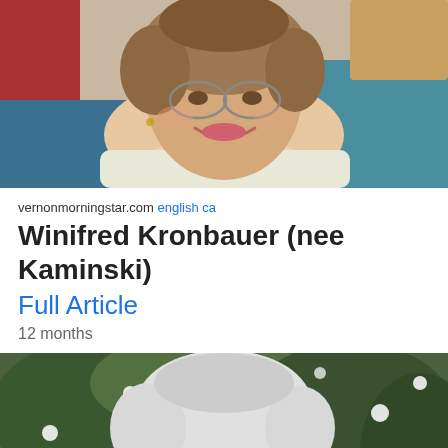[Figure (photo): Elderly woman with curly brown-gray hair and glasses, smiling, wearing a light top, seated indoors with red and teal background.]
vernonmorningstar.com english ca
Winifred Kronbauer (nee Kaminski)
Full Article
12 months
[Figure (photo): Elderly woman with short white hair and glasses, smiling gently, wearing a blue plaid top, photographed outdoors in front of green foliage with white flowers.]